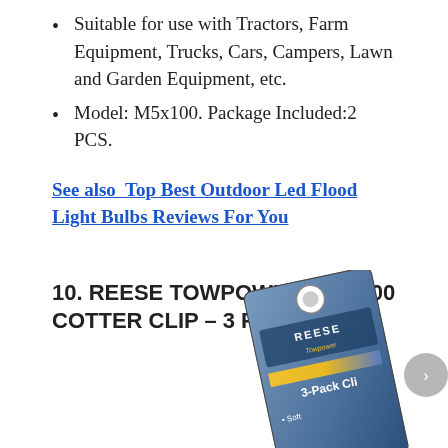Suitable for use with Tractors, Farm Equipment, Trucks, Cars, Campers, Lawn and Garden Equipment, etc.
Model: M5x100. Package Included:2 PCS.
See also  Top Best Outdoor Led Flood Light Bulbs Reviews For You
10. REESE TOWPOWER 7021300 COTTER CLIP – 3 PACK
[Figure (photo): Product photo of a Reese Towpower 3-Pack Clip package (blue retail card with hang hole), partially visible at bottom right of page.]